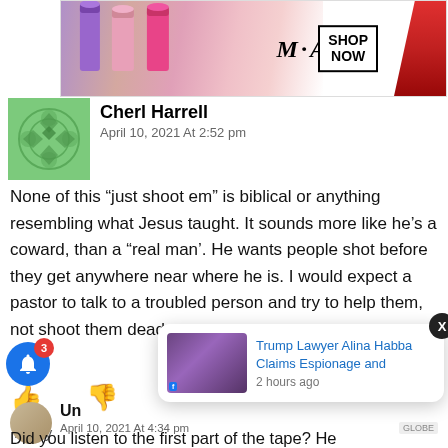[Figure (photo): MAC Cosmetics advertisement banner with lipsticks and 'SHOP NOW' button]
Cherl Harrell
April 10, 2021 At 2:52 pm
None of this “just shoot em” is biblical or anything resembling what Jesus taught. It sounds more like he’s a coward, than a “real man’. He wants people shot before they get anywhere near where he is. I would expect a pastor to talk to a troubled person and try to help them, not shoot them dead.
Reply
[Figure (screenshot): Popup card showing 'Trump Lawyer Alina Habba Claims Espionage and' with thumbnail, 2 hours ago]
Un...
April 10, 2021 At 4:34 pm
Did you listen to the first part of the tape? He